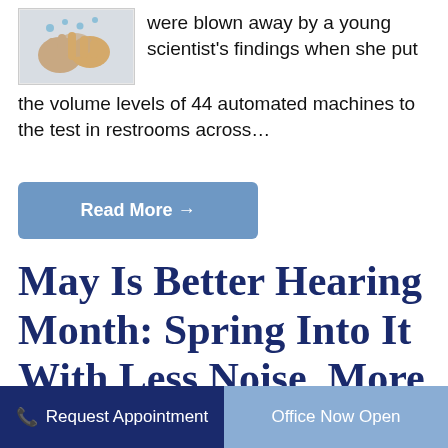[Figure (illustration): Small illustration of hands washing or related hygiene image]
were blown away by a young scientist's findings when she put the volume levels of 44 automated machines to the test in restrooms across…
Read More →
May Is Better Hearing Month: Spring Into It With Less Noise, More
Request Appointment | Office Now Open